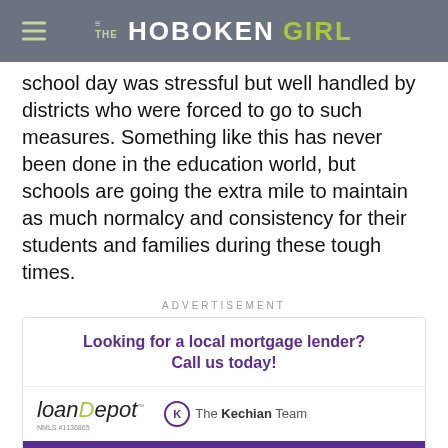THE HOBOKEN GIRL
school day was stressful but well handled by districts who were forced to go to such measures. Something like this has never been done in the education world, but schools are going the extra mile to maintain as much normalcy and consistency for their students and families during these tough times.
ADVERTISEMENT
[Figure (other): Advertisement for loanDepot - The Kechian Team featuring Baret Kechian, Branch Manager NMLS #9411. Headline: Looking for a local mortgage lender? Call us today!]